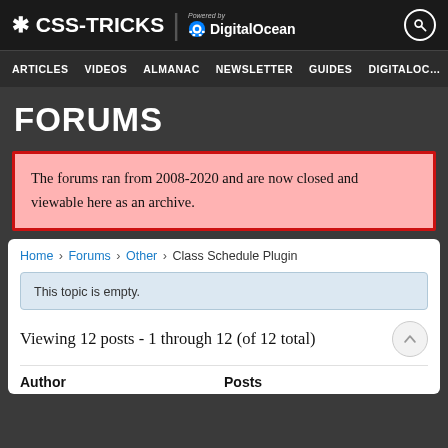* CSS-TRICKS | Powered by DigitalOcean
ARTICLES  VIDEOS  ALMANAC  NEWSLETTER  GUIDES  DIGITALOCEAN
FORUMS
The forums ran from 2008-2020 and are now closed and viewable here as an archive.
Home › Forums › Other › Class Schedule Plugin
This topic is empty.
Viewing 12 posts - 1 through 12 (of 12 total)
| Author | Posts |
| --- | --- |